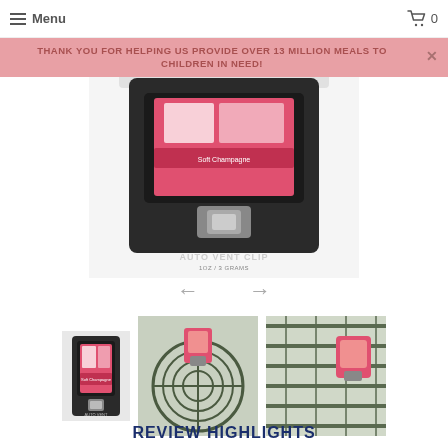Menu  | Cart 0
THANK YOU FOR HELPING US PROVIDE OVER 13 MILLION MEALS TO CHILDREN IN NEED!
[Figure (photo): Auto vent clip air freshener product in black packaging, showing 'AUTO VENT CLIP 1OZ / 3 GRAMS' text on dark card, with pink fragrance refill visible]
[Figure (photo): Small thumbnail of auto vent clip product in black packaging]
[Figure (photo): Thumbnail of auto vent clip attached to a fan/vent with dark green background]
[Figure (photo): Thumbnail of auto vent clip attached to vent grille, close-up]
REVIEW HIGHLIGHTS